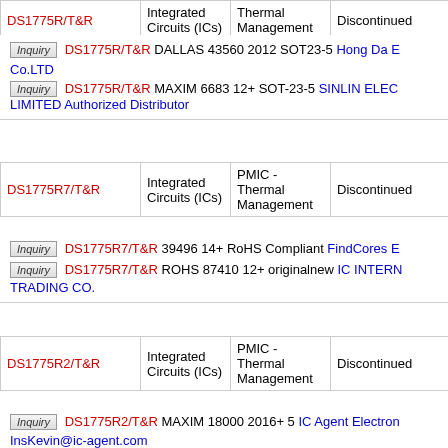| Part | Category | Subcategory | Status | Description |
| --- | --- | --- | --- | --- |
| DS1775R/T&R | Integrated Circuits (ICs) | Thermal Management | Discontinued | 000 SOT-23 |
| DS1775R7/T&R | Integrated Circuits (ICs) | PMIC - Thermal Management | Discontinued | IC THERMO 111 SOT-23 |
| DS1775R2/T&R | Integrated Circuits (ICs) | PMIC - Thermal Management | Discontinued | IC THERMO 010 SOT-23 |
Inquiry DS1775R/T&R DALLAS 43560 2012 SOT23-5 Hong Da E Co.LTD
Inquiry DS1775R/T&R MAXIM 6683 12+ SOT-23-5 SINLIN ELEC LIMITED Authorized Distributor
Inquiry DS1775R7/T&R 39496 14+ RoHS Compliant FindCores E
Inquiry DS1775R7/T&R ROHS 87410 12+ originalnew IC INTERN TRADING CO.
Inquiry DS1775R2/T&R MAXIM 18000 2016+ 5 IC Agent Electron InsKevin@ic-agent.com